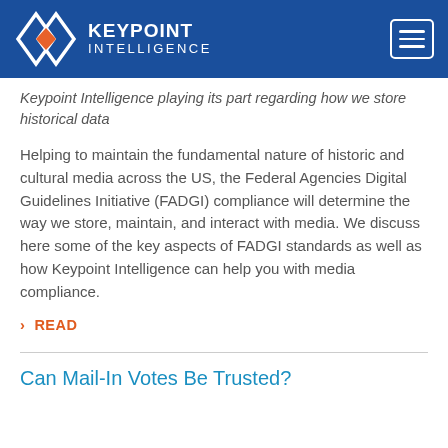KEYPOINT INTELLIGENCE
Keypoint Intelligence playing its part regarding how we store historical data
Helping to maintain the fundamental nature of historic and cultural media across the US, the Federal Agencies Digital Guidelines Initiative (FADGI) compliance will determine the way we store, maintain, and interact with media. We discuss here some of the key aspects of FADGI standards as well as how Keypoint Intelligence can help you with media compliance.
READ
Can Mail-In Votes Be Trusted?